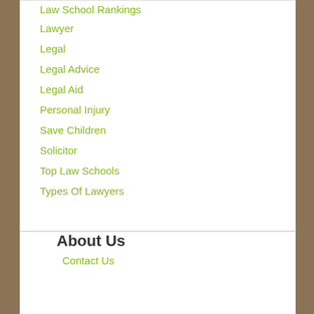Law School Rankings
Lawyer
Legal
Legal Advice
Legal Aid
Personal Injury
Save Children
Solicitor
Top Law Schools
Types Of Lawyers
About Us
Contact Us